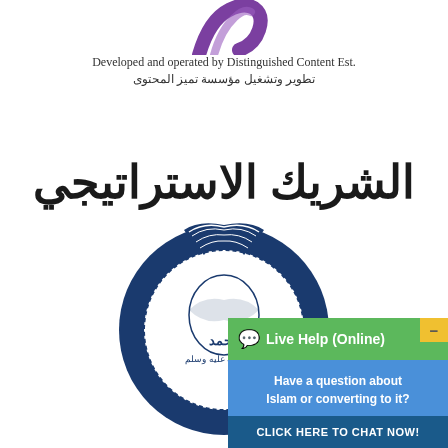[Figure (logo): Partial purple/violet logo mark at top center of page]
Developed and operated by Distinguished Content Est.
تطوير وتشغيل مؤسسة تميز المحتوى
الشريك الاستراتيجي
[Figure (logo): Blue circular Arabic calligraphy logo with book/ribbon motif]
[Figure (screenshot): Live Help (Online) chat widget overlay - green header with chat bubble icon, blue body text 'Have a question about Islam or converting to it?', dark blue button 'CLICK HERE TO CHAT NOW!', yellow minimize button top right]